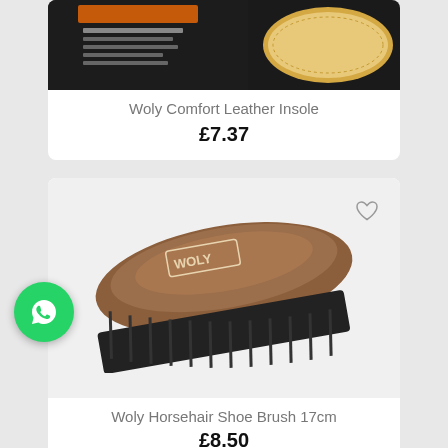[Figure (photo): Partial top of first product card showing Woly Comfort Leather Insole product image (dark packaging and tan leather insole)]
Woly Comfort Leather Insole
£7.37
[Figure (photo): Woly Horsehair Shoe Brush 17cm - wooden oval-shaped brush with black bristles and WOLY branding on top]
Woly Horsehair Shoe Brush 17cm
£8.50
[Figure (logo): WhatsApp green circle button with white phone/chat icon]